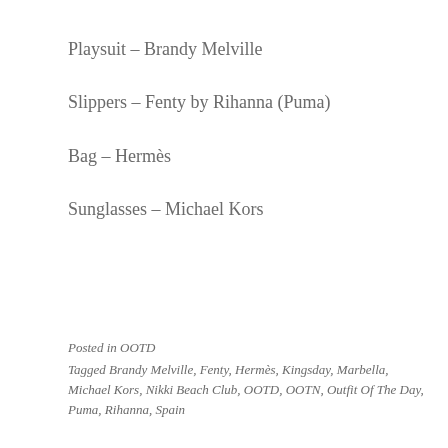Playsuit – Brandy Melville
Slippers – Fenty by Rihanna (Puma)
Bag – Hermès
Sunglasses – Michael Kors
Posted in OOTD
Tagged Brandy Melville, Fenty, Hermès, Kingsday, Marbella, Michael Kors, Nikki Beach Club, OOTD, OOTN, Outfit Of The Day, Puma, Rihanna, Spain